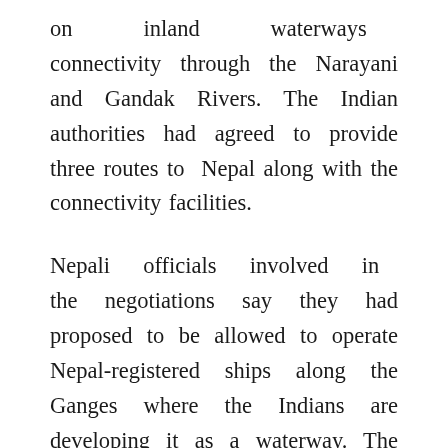on inland waterways connectivity through the Narayani and Gandak Rivers. The Indian authorities had agreed to provide three routes to Nepal along with the connectivity facilities.
Nepali officials involved in the negotiations say they had proposed to be allowed to operate Nepal-registered ships along the Ganges where the Indians are developing it as a waterway. The Indian authorities had assured them of responding to the proposal only after reviewing their own domestic laws. They